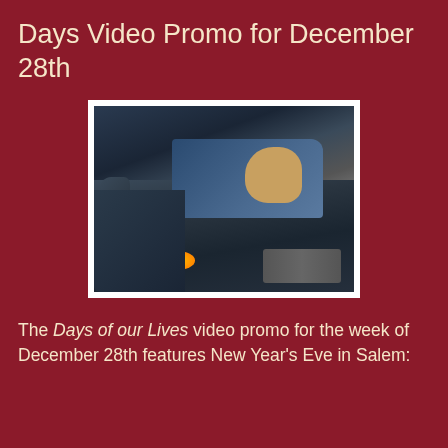Days Video Promo for December 28th
[Figure (photo): A woman with blonde hair sits inside a car, viewed from the front through the windshield, dark dramatic lighting, car shown close-up with headlight visible]
The Days of our Lives video promo for the week of December 28th features New Year's Eve in Salem: